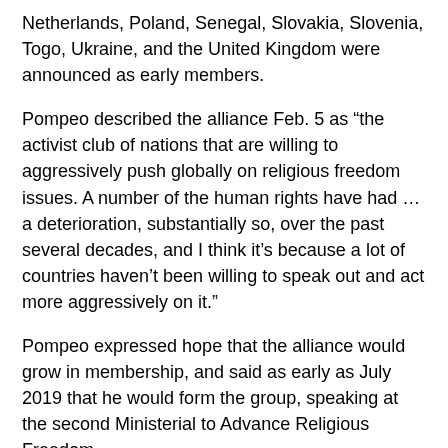Netherlands, Poland, Senegal, Slovakia, Slovenia, Togo, Ukraine, and the United Kingdom were announced as early members.
Pompeo described the alliance Feb. 5 as “the activist club of nations that are willing to aggressively push globally on religious freedom issues. A number of the human rights have had … a deterioration, substantially so, over the past several decades, and I think it’s because a lot of countries haven’t been willing to speak out and act more aggressively on it.”
Pompeo expressed hope that the alliance would grow in membership, and said as early as July 2019 that he would form the group, speaking at the second Ministerial to Advance Religious Freedom.
Alliance members are expected to discuss actions they can take to cooperatively promote respect for freedom of religion internationally, Pompeo has said.
Curry said the alliance is an important first step in spreading religious liberty internationally.